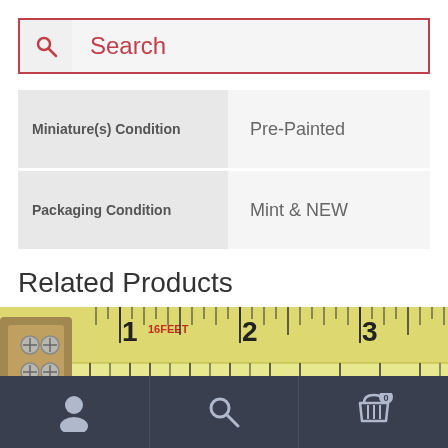Search
|  |  |
| --- | --- |
| Miniature(s) Condition | Pre-Painted |
| Packaging Condition | Mint & NEW |
Related Products
[Figure (photo): Close-up photo of a yellow tape measure showing measurements 1-3 in feet on top row and 3-9 in metric (5m) on bottom row]
[Figure (other): Bottom navigation bar with user/account icon, search icon, and shopping cart icon with badge showing 0]